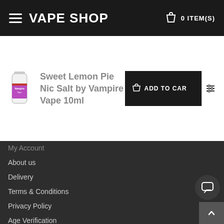VAPE SHOP — 0 ITEM(S)
Sweet Lemon Pie Nic Salt by Vampire Vape 10ml
My Account
About us
Delivery
Terms & Conditions
Privacy Policy
Age Verification
Battery Safety
Vaping Guides
Support
Contact Us
Price Match Promise